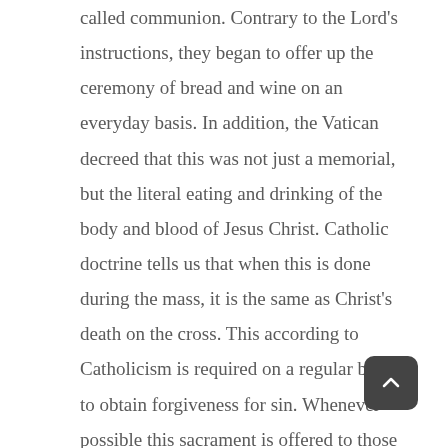called communion. Contrary to the Lord's instructions, they began to offer up the ceremony of bread and wine on an everyday basis. In addition, the Vatican decreed that this was not just a memorial, but the literal eating and drinking of the body and blood of Jesus Christ. Catholic doctrine tells us that when this is done during the mass, it is the same as Christ's death on the cross. This according to Catholicism is required on a regular basis to obtain forgiveness for sin. Whenever possible this sacrament is offered to those who are close to death.

During the dark ages many good Christian